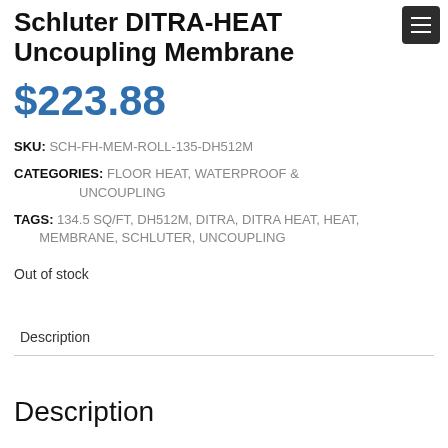Schluter DITRA-HEAT Uncoupling Membrane
$223.88
SKU: SCH-FH-MEM-ROLL-135-DH512M
CATEGORIES: FLOOR HEAT, WATERPROOF & UNCOUPLING
TAGS: 134.5 SQ/FT, DH512M, DITRA, DITRA HEAT, HEAT, MEMBRANE, SCHLUTER, UNCOUPLING
Out of stock
Description
Description